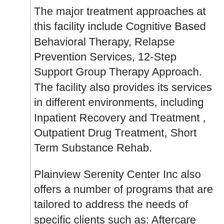The major treatment approaches at this facility include Cognitive Based Behavioral Therapy, Relapse Prevention Services, 12-Step Support Group Therapy Approach. The facility also provides its services in different environments, including Inpatient Recovery and Treatment , Outpatient Drug Treatment, Short Term Substance Rehab.
Plainview Serenity Center Inc also offers a number of programs that are tailored to address the needs of specific clients such as: Aftercare Programs, Substance Abuse Assessment, Substance Addiction Screening. Lastly, Plainview Serenity Center Inc accepts different payment types, including Private Payment, Medicaid Covered Treatment,